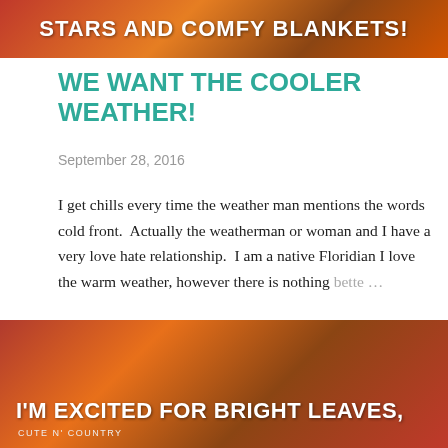[Figure (photo): Dark warm-toned image with bold white text overlay reading STARS AND COMFY BLANKETS!]
WE WANT THE COOLER WEATHER!
September 28, 2016
I get chills every time the weather man mentions the words cold front.  Actually the weatherman or woman and I have a very love hate relationship.  I am a native Floridian I love the warm weather, however there is nothing bette …
SHARE   1 COMMENT   READ MORE
[Figure (photo): Dark warm autumn-toned image with bold white text overlay reading I'M EXCITED FOR BRIGHT LEAVES, with CUTE N' COUNTRY in small text below]